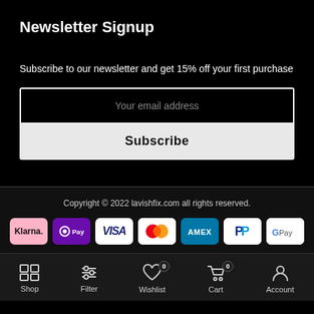Newsletter Signup
Subscribe to our newsletter and get 15% off your first purchase
Your email address
Subscribe
Copyright © 2022 lavishfix.com all rights reserved.
[Figure (infographic): Payment method logos: Klarna, OPay, VISA, Mastercard, AMEX, PayPal, Google Pay]
Shop   Filter   Wishlist 0   Cart 0   Account